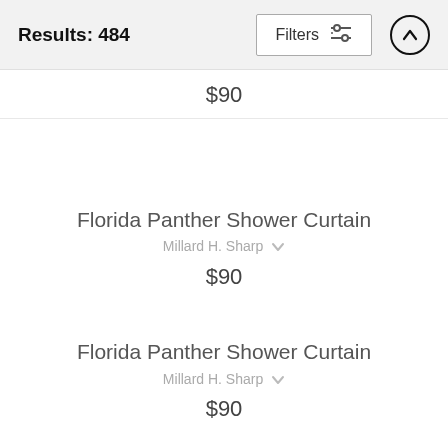Results: 484  Filters  ↑
$90
Florida Panther Shower Curtain
Millard H. Sharp
$90
Florida Panther Shower Curtain
Millard H. Sharp
$90